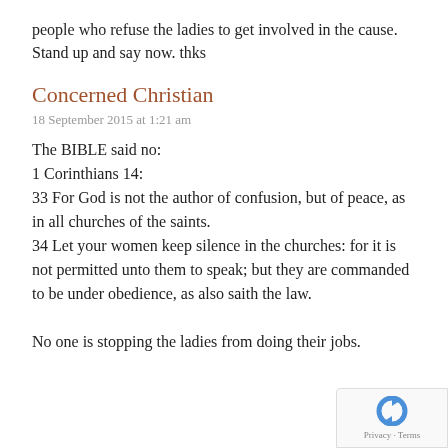people who refuse the ladies to get involved in the cause. Stand up and say now. thks
Concerned Christian
18 September 2015 at 1:21 am
The BIBLE said no:
1 Corinthians 14:
33 For God is not the author of confusion, but of peace, as in all churches of the saints.
34 Let your women keep silence in the churches: for it is not permitted unto them to speak; but they are commanded to be under obedience, as also saith the law.

No one is stopping the ladies from doing their jobs.
[Figure (logo): reCAPTCHA badge with Privacy and Terms text]